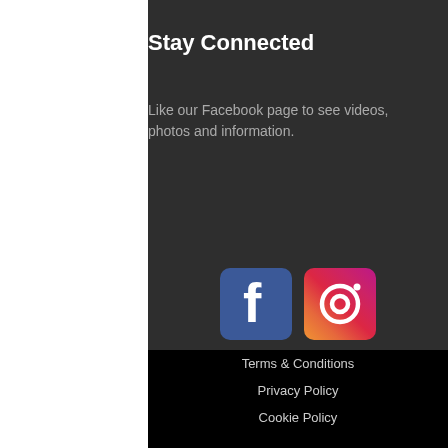Stay Connected
Like our Facebook page to see videos, photos and information.
[Figure (logo): Facebook and Instagram social media icons side by side]
Terms & Conditions
Privacy Policy
Cookie Policy